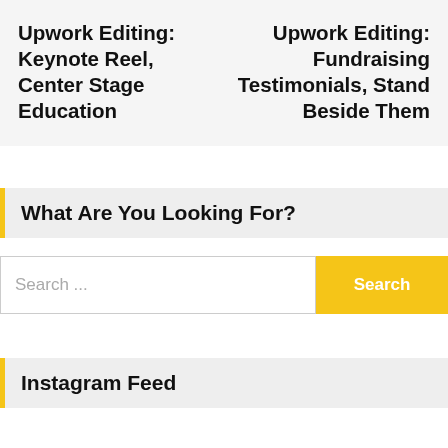Upwork Editing: Keynote Reel, Center Stage Education
Upwork Editing: Fundraising Testimonials, Stand Beside Them
What Are You Looking For?
Search ...
Instagram Feed